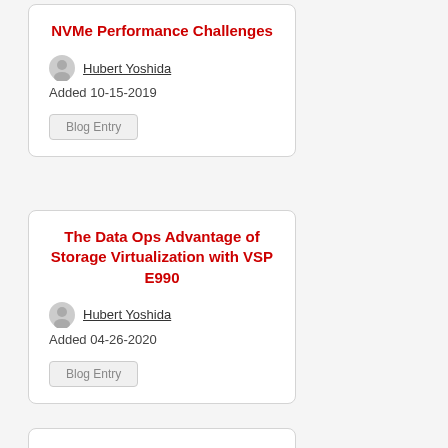NVMe Performance Challenges
Hubert Yoshida
Added 10-15-2019
Blog Entry
The Data Ops Advantage of Storage Virtualization with VSP E990
Hubert Yoshida
Added 04-26-2020
Blog Entry